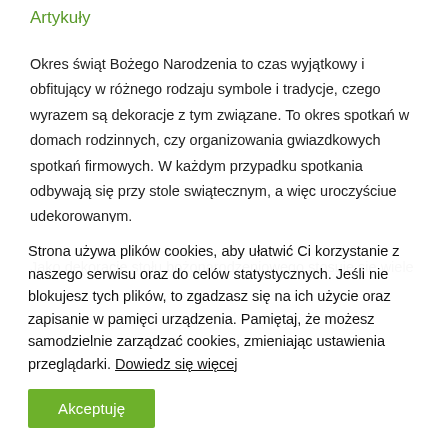Artykuły
Okres świąt Bożego Narodzenia to czas wyjątkowy i obfitujący w różnego rodzaju symbole i tradycje, czego wyrazem są dekoracje z tym związane. To okres spotkań w domach rodzinnych, czy organizowania gwiazdkowych spotkań firmowych. W każdym przypadku spotkania odbywają się przy stole swiątecznym, a więc uroczyściue udekorowanym.

Jako dekoracje stołu bożonarodzeniowego stosuje się wiele
Strona używa plików cookies, aby ułatwić Ci korzystanie z naszego serwisu oraz do celów statystycznych. Jeśli nie blokujesz tych plików, to zgadzasz się na ich użycie oraz zapisanie w pamięci urządzenia. Pamiętaj, że możesz samodzielnie zarządzać cookies, zmieniając ustawienia przeglądarki. Dowiedz się więcej
Akceptuję